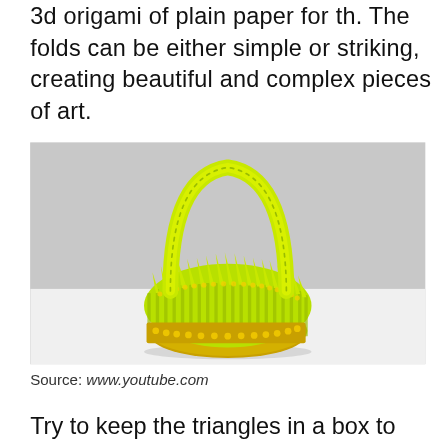3d origami of plain paper for th. The folds can be either simple or striking, creating beautiful and complex pieces of art.
[Figure (photo): A 3D origami basket made from yellow-green paper triangular pieces, with a curved handle on top, photographed against a white/grey background on a white surface.]
Source: www.youtube.com
Try to keep the triangles in a box to avoid losing them. For how to make the pieces cl... in the beginning or find the